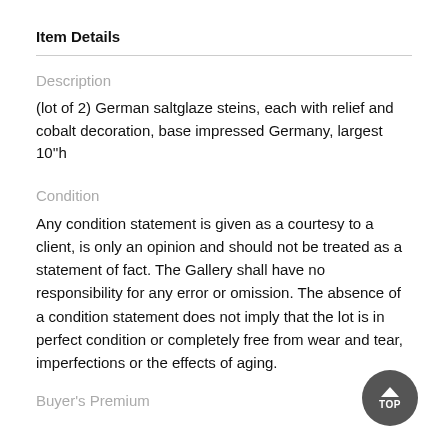Item Details
Description
(lot of 2) German saltglaze steins, each with relief and cobalt decoration, base impressed Germany, largest 10''h
Condition
Any condition statement is given as a courtesy to a client, is only an opinion and should not be treated as a statement of fact. The Gallery shall have no responsibility for any error or omission. The absence of a condition statement does not imply that the lot is in perfect condition or completely free from wear and tear, imperfections or the effects of aging.
Buyer's Premium